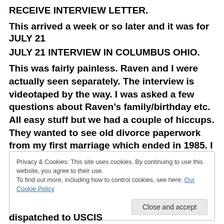RECEIVE INTERVIEW LETTER.
This arrived a week or so later and it was for JULY 21
JULY 21 INTERVIEW IN COLUMBUS OHIO.
This was fairly painless. Raven and I were actually seen separately. The interview is videotaped by the way. I was asked a few questions about Raven’s family/birthday etc. All easy stuff but we had a couple of hiccups. They wanted to see old divorce paperwork from my first marriage which ended in 1985. I received
Privacy & Cookies: This site uses cookies. By continuing to use this website, you agree to their use.
To find out more, including how to control cookies, see here: Our Cookie Policy
dispatched to USCIS